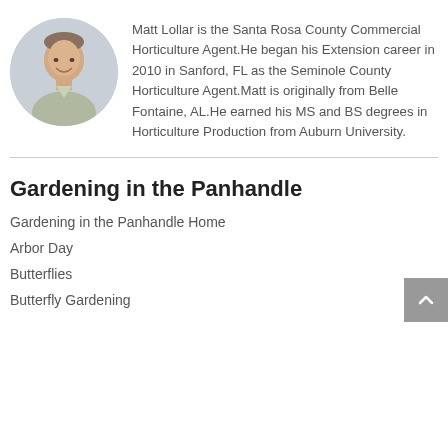[Figure (photo): Circular headshot photo of Matt Lollar, a man smiling, with light background]
Matt Lollar is the Santa Rosa County Commercial Horticulture Agent.He began his Extension career in 2010 in Sanford, FL as the Seminole County Horticulture Agent.Matt is originally from Belle Fontaine, AL.He earned his MS and BS degrees in Horticulture Production from Auburn University.
Gardening in the Panhandle
Gardening in the Panhandle Home
Arbor Day
Butterflies
Butterfly Gardening